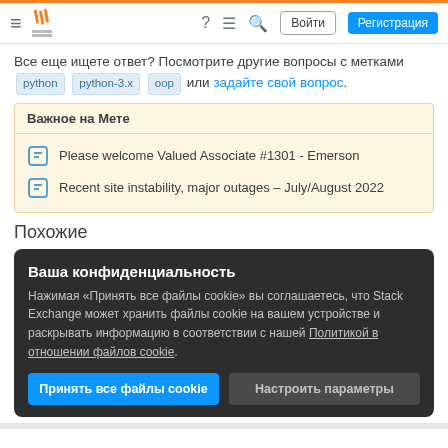Stack Overflow navigation bar with hamburger menu, logo, help, chat, search icons, Войти and Регистрация buttons
Все еще ищете ответ? Посмотрите другие вопросы с метками python python-3.x oop или задайте свой вопрос.
Важное на Мете
Please welcome Valued Associate #1301 - Emerson
Recent site instability, major outages – July/August 2022
Похожие
Ваша конфиденциальность
Нажимая «Принять все файлы cookie» вы соглашаетесь, что Stack Exchange может хранить файлы cookie на вашем устройстве и раскрывать информацию в соответствии с нашей Политикой в отношении файлов cookie.
Принять все файлы cookie | Настроить параметры